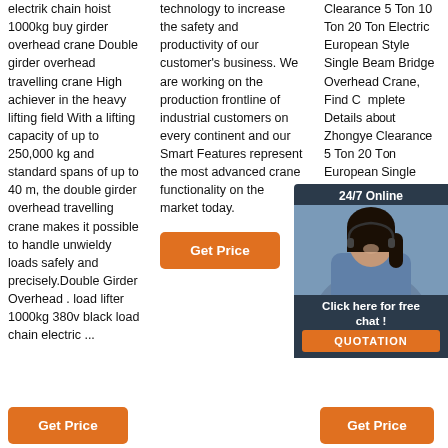electrik chain hoist 1000kg buy girder overhead crane Double girder overhead travelling crane High achiever in the heavy lifting field With a lifting capacity of up to 250,000 kg and standard spans of up to 40 m, the double girder overhead travelling crane makes it possible to handle unwieldy loads safely and precisely.Double Girder Overhead . load lifter 1000kg 380v black load chain electric ...
technology to increase the safety and productivity of our customer's business. We are working on the production frontline of industrial customers on every continent and our Smart Features represent the most advanced crane functionality on the market today.
Clearance 5 Ton 10 Ton 20 Ton Electric European Style Single Beam Bridge Overhead Crane, Find Complete Details about Zhongye Clearance 5 Ton 10 Ton 20 Ton Electric European Style Single Beam Bridge Overhead Crane,Crane Bridge Crane Bridge Cranes Supplier or Manufacturer-Zhongye Crane (Henan) Co., Ltd.
[Figure (photo): Customer service chat widget overlay with woman wearing headset, '24/7 Online' header, 'Click here for free chat!' text, and orange QUOTATION button]
Get Price
Get Price
Get Price